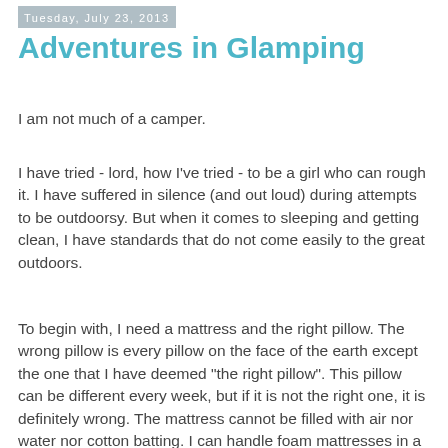Tuesday, July 23, 2013
Adventures in Glamping
I am not much of a camper.
I have tried - lord, how I've tried - to be a girl who can rough it. I have suffered in silence (and out loud) during attempts to be outdoorsy. But when it comes to sleeping and getting clean, I have standards that do not come easily to the great outdoors.
To begin with, I need a mattress and the right pillow. The wrong pillow is every pillow on the face of the earth except the one that I have deemed "the right pillow". This pillow can be different every week, but if it is not the right one, it is definitely wrong. The mattress cannot be filled with air nor water nor cotton batting. I can handle foam mattresses in a pinch, but for the most part I need a pretty firm, but not too firm mind you, mattress. And if you slip a pea under it so help me I will come and find you and stick your hand in a glass of water while you sleep. (I think that's the sort of thing you do to seek retribution when you are camping.) And I need actual